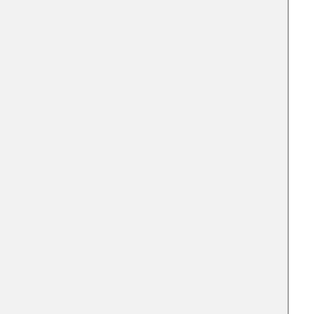shown in red the left graph each update. The maximum and minimum values shown as dots on the vertical axis; last zero shown as a dot on horizontal axis. The value each of three random variables recorded in first table each update. Any of the three variables can selected from the list how...
RandomWalkExperiment:
To view this experiment, click here and select "RandomWalkExperiment" from the list.
SOCR_Experiments.html